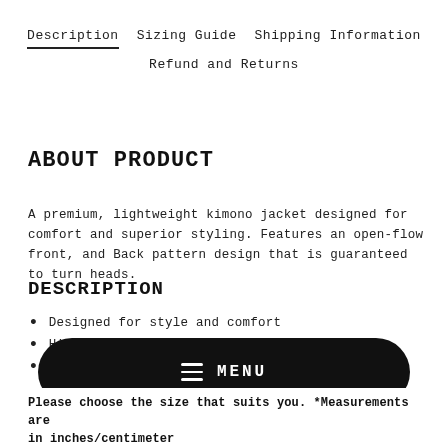Description   Sizing Guide   Shipping Information   Refund and Returns
ABOUT PRODUCT
A premium, lightweight kimono jacket designed for comfort and superior styling. Features an open-flow front, and Back pattern design that is guaranteed to turn heads.
DESCRIPTION
Designed for style and comfort
High definition print
Free-flow front
MENU
Please choose the size that suits you. *Measurements are in inches/centimeter